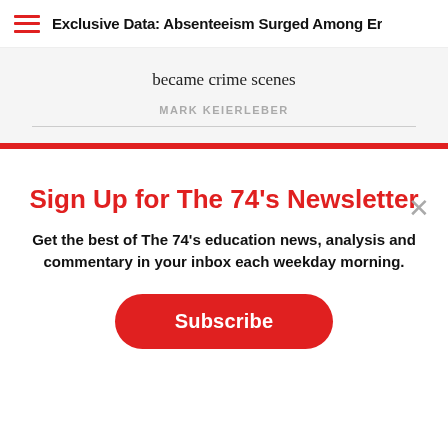Exclusive Data: Absenteeism Surged Among En
became crime scenes
MARK KEIERLEBER
Sign Up for The 74's Newsletter
Get the best of The 74's education news, analysis and commentary in your inbox each weekday morning.
Subscribe